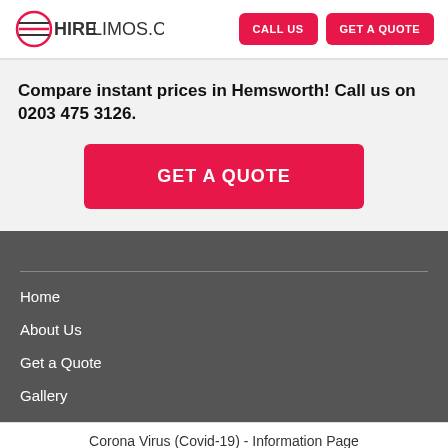[Figure (logo): HireLimos.com logo with circular icon on left and HIRELIMOS.COM text]
CALL US
GET A QUOTE
Compare instant prices in Hemsworth! Call us on 0203 475 3126.
GET A QUOTE
Home
About Us
Get a Quote
Gallery
Corona Virus (Covid-19) - Information Page